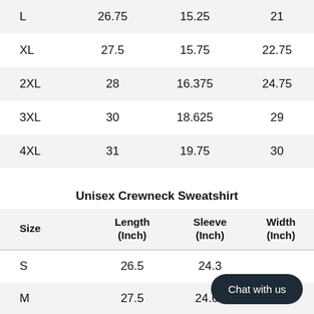| Size | Length (Inch) | Sleeve (Inch) | Width (Inch) |
| --- | --- | --- | --- |
| L | 26.75 | 15.25 | 21 |
| XL | 27.5 | 15.75 | 22.75 |
| 2XL | 28 | 16.375 | 24.75 |
| 3XL | 30 | 18.625 | 29 |
| 4XL | 31 | 19.75 | 30 |
Unisex Crewneck Sweatshirt
| Size | Length (Inch) | Sleeve (Inch) | Width (Inch) |
| --- | --- | --- | --- |
| S | 26.5 | 24.3 |  |
| M | 27.5 | 24.63 | 22 |